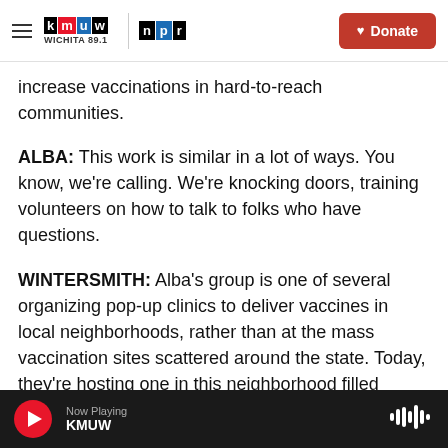KMUW Wichita 89.1 | NPR | Donate
increase vaccinations in hard-to-reach communities.
ALBA: This work is similar in a lot of ways. You know, we're calling. We're knocking doors, training volunteers on how to talk to folks who have questions.
WINTERSMITH: Alba's group is one of several organizing pop-up clinics to deliver vaccines in local neighborhoods, rather than at the mass vaccination sites scattered around the state. Today, they're hosting one in this neighborhood filled predominantly with working-class people of color
Now Playing KMUW